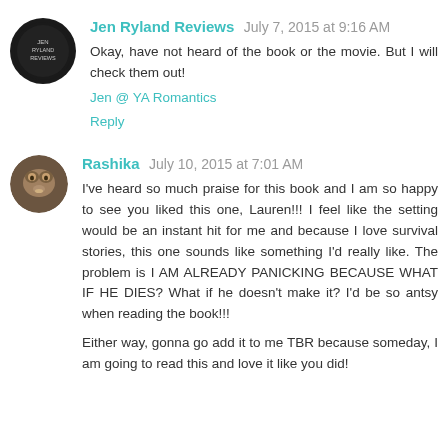Jen Ryland Reviews  July 7, 2015 at 9:16 AM
Okay, have not heard of the book or the movie. But I will check them out!
Jen @ YA Romantics
Reply
Rashika  July 10, 2015 at 7:01 AM
I've heard so much praise for this book and I am so happy to see you liked this one, Lauren!!! I feel like the setting would be an instant hit for me and because I love survival stories, this one sounds like something I'd really like. The problem is I AM ALREADY PANICKING BECAUSE WHAT IF HE DIES? What if he doesn't make it? I'd be so antsy when reading the book!!!
Either way, gonna go add it to me TBR because someday, I am going to read this and love it like you did!